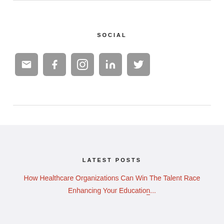SOCIAL
[Figure (infographic): Row of five social media icon buttons: email, Facebook, Instagram, LinkedIn, Twitter — gray rounded squares with white icons]
LATEST POSTS
How Healthcare Organizations Can Win The Talent Race
Enhancing Your Education...